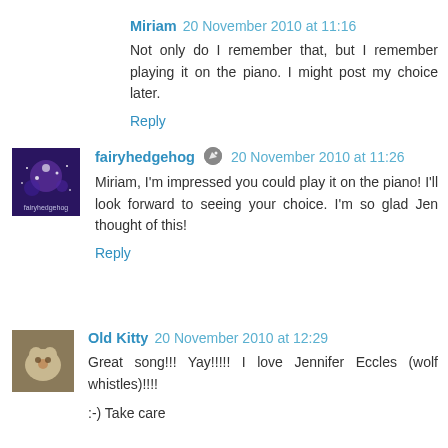Miriam 20 November 2010 at 11:16
Not only do I remember that, but I remember playing it on the piano. I might post my choice later.
Reply
fairyhedgehog 20 November 2010 at 11:26
Miriam, I'm impressed you could play it on the piano! I'll look forward to seeing your choice. I'm so glad Jen thought of this!
Reply
Old Kitty 20 November 2010 at 12:29
Great song!!! Yay!!!!! I love Jennifer Eccles (wolf whistles)!!!!
:-) Take care